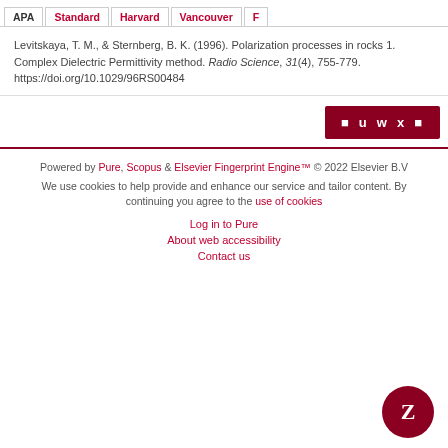| APA | Standard | Harvard | Vancouver | F… |
| --- | --- | --- | --- | --- |
Levitskaya, T. M., & Sternberg, B. K. (1996). Polarization processes in rocks 1. Complex Dielectric Permittivity method. Radio Science, 31(4), 755-779. https://doi.org/10.1029/96RS00484
[Figure (other): Dark red badge with icons and letters: u w x]
Powered by Pure, Scopus & Elsevier Fingerprint Engine™ © 2022 Elsevier B.V
We use cookies to help provide and enhance our service and tailor content. By continuing you agree to the use of cookies
Log in to Pure
About web accessibility
Contact us
[Figure (logo): Dark red circular badge with letter Z]